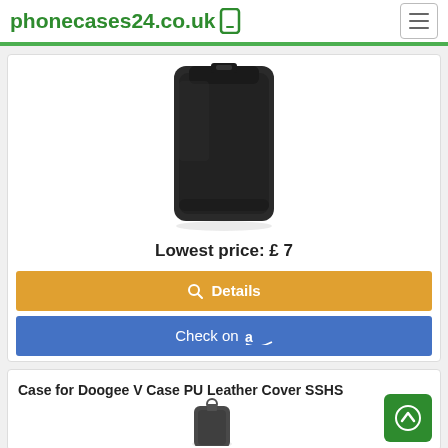phonecases24.co.uk
[Figure (photo): Black leather phone sleeve/case for smartphone]
Lowest price: £ 7
Details
Check on Amazon
Case for Doogee V Case PU Leather Cover SSHS
[Figure (photo): Phone case product image, partially visible at bottom of page]